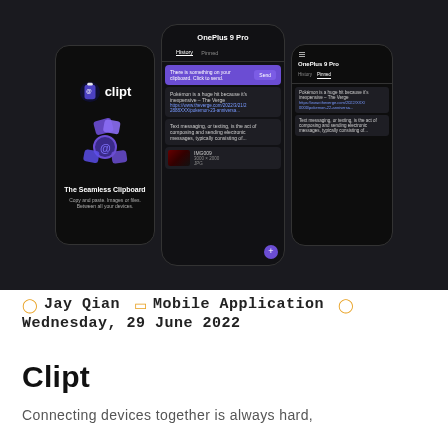[Figure (screenshot): Three mobile phone screenshots showing the Clipt clipboard app. Left phone shows the Clipt logo and tagline 'The Seamless Clipboard'. Center phone (OnePlus 9 Pro) shows the app interface with clipboard history items including text, links, and an image. Right phone (OnePlus 9 Pro) shows a pinned items view.]
Jay Qian   Mobile Application   Wednesday, 29 June 2022
Clipt
Connecting devices together is always hard,